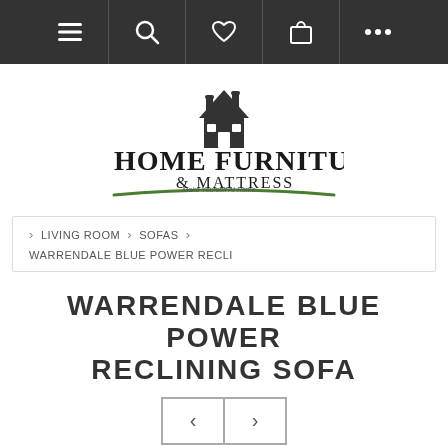Navigation bar with menu, search, wishlist, cart, and more icons
[Figure (logo): Home Furniture & Mattress logo with house illustration and green swoosh. Tagline: Make Yourself At Home]
> LIVING ROOM > SOFAS > WARRENDALE BLUE POWER RECLI
WARRENDALE BLUE POWER RECLINING SOFA
[Figure (other): Navigation arrows: left arrow and right arrow buttons]